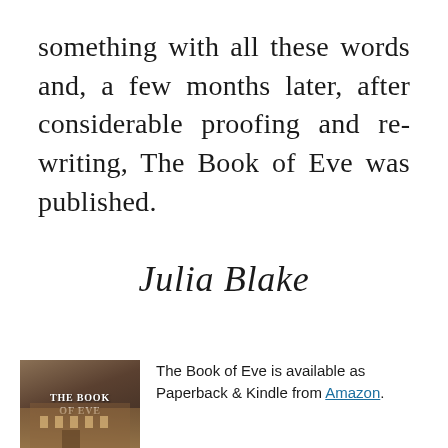finally, in 2017, I decided to do something with all these words and, a few months later, after considerable proofing and re-writing, The Book of Eve was published.
Julia Blake
[Figure (photo): Book cover of 'The Book of Eve' showing a grand building with warm tones]
The Book of Eve is available as Paperback & Kindle from Amazon.